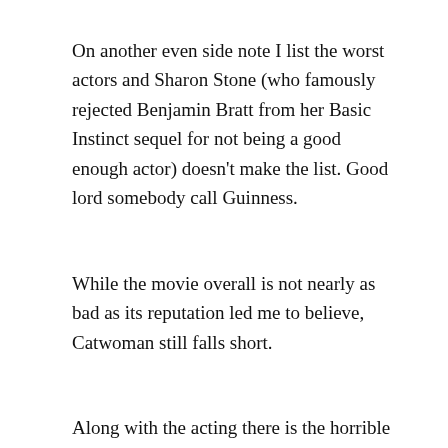On another even side note I list the worst actors and Sharon Stone (who famously rejected Benjamin Bratt from her Basic Instinct sequel for not being a good enough actor) doesn't make the list. Good lord somebody call Guinness.
While the movie overall is not nearly as bad as its reputation led me to believe, Catwoman still falls short.
Along with the acting there is the horrible horrible (did I mention horrible) music which sounds like a 13 year old girls idea of what is hip; a lot of silly jumping around the city scenes; and the coup de grace, the Ferris wheel ...